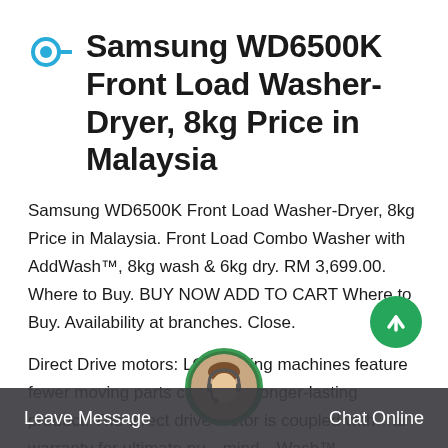Samsung WD6500K Front Load Washer-Dryer, 8kg Price in Malaysia
Samsung WD6500K Front Load Washer-Dryer, 8kg Price in Malaysia. Front Load Combo Washer with AddWash™, 8kg wash & 6kg dry. RM 3,699.00. Where to Buy. BUY NOW ADD TO CART Where to Buy. Availability at branches. Close.
Direct Drive motors: LG washing machines feature fewer moving parts creating a longer-lasting product. The direct drive motor is coupled wit... ar warranty for ultimate pu... mind... Wash™ ...hnology. LG's
Leave Message    Chat Online